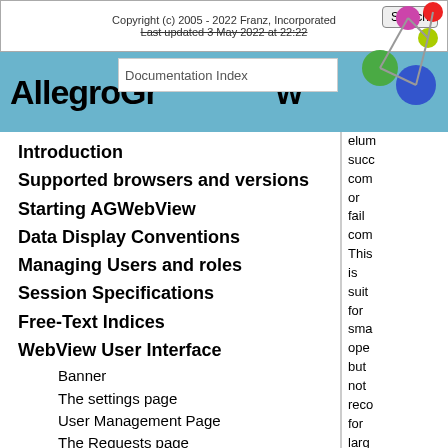Copyright (c) 2005 - 2022 Franz, Incorporated
Last updated 3 May 2022 at 22:22
AllegroGr... Documentation Index ...w
Introduction
Supported browsers and versions
Starting AGWebView
Data Display Conventions
Managing Users and roles
Session Specifications
Free-Text Indices
WebView User Interface
Banner
The settings page
User Management Page
The Requests page
elum succ com or fail com This is suit for sma ope but not reco for larg data loac